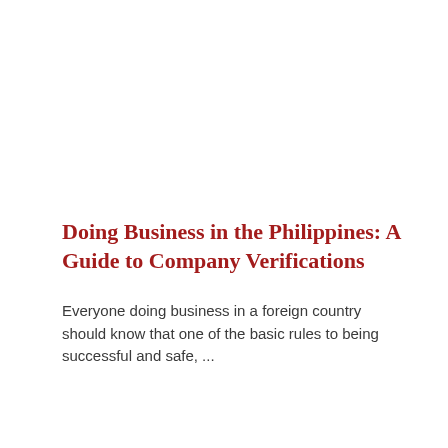Doing Business in the Philippines: A Guide to Company Verifications
Everyone doing business in a foreign country should know that one of the basic rules to being successful and safe, ...